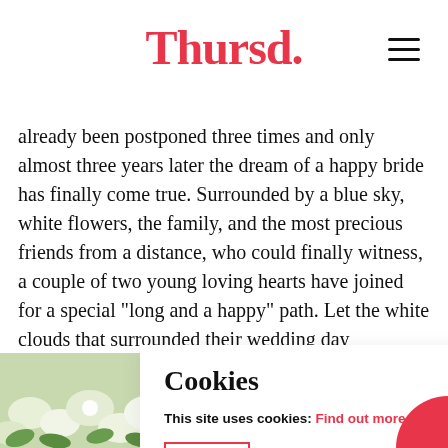Thursd.
already been postponed three times and only almost three years later the dream of a happy bride has finally come true. Surrounded by a blue sky, white flowers, the family, and the most precious friends from a distance, who could finally witness, a couple of two young loving hearts have joined for a special "long and a happy" path. Let the white clouds that surrounded their wedding day accompany their steps toge
Cookies
This site uses cookies: Find out more.
Got it
[Figure (photo): White flowers arrangement at the bottom of the page]